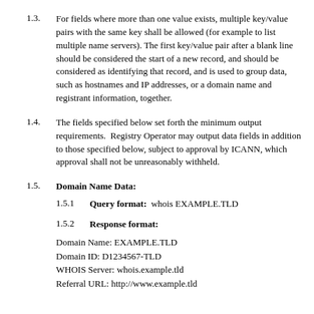1.3. For fields where more than one value exists, multiple key/value pairs with the same key shall be allowed (for example to list multiple name servers). The first key/value pair after a blank line should be considered the start of a new record, and should be considered as identifying that record, and is used to group data, such as hostnames and IP addresses, or a domain name and registrant information, together.
1.4. The fields specified below set forth the minimum output requirements.  Registry Operator may output data fields in addition to those specified below, subject to approval by ICANN, which approval shall not be unreasonably withheld.
1.5. Domain Name Data:
1.5.1 Query format:  whois EXAMPLE.TLD
1.5.2 Response format:
Domain Name: EXAMPLE.TLD
Domain ID: D1234567-TLD
WHOIS Server: whois.example.tld
Referral URL: http://www.example.tld